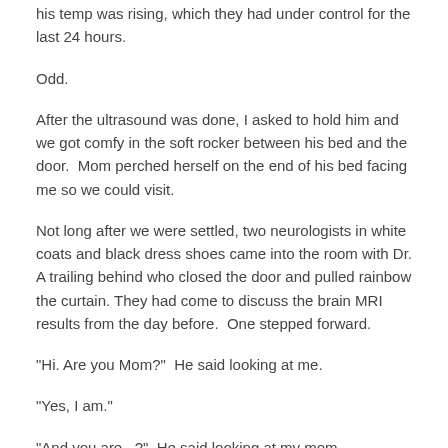his temp was rising, which they had under control for the last 24 hours.
Odd.
After the ultrasound was done, I asked to hold him and we got comfy in the soft rocker between his bed and the door.  Mom perched herself on the end of his bed facing me so we could visit.
Not long after we were settled, two neurologists in white coats and black dress shoes came into the room with Dr. A trailing behind who closed the door and pulled rainbow the curtain. They had come to discuss the brain MRI results from the day before.  One stepped forward.
"Hi. Are you Mom?"  He said looking at me.
"Yes, I am."
"And you are...?"  He said looking at my mom.
"I'm the Grandmother."  Mom replied.